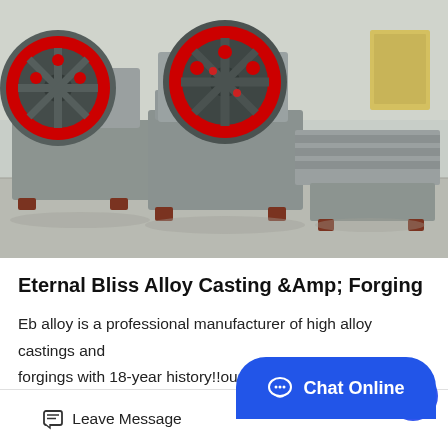[Figure (photo): Industrial jaw crusher machines in gray with red flywheel accents, sitting on a concrete floor in a factory or outdoor yard. Multiple units visible, with large red circular flywheels prominently featured.]
Eternal Bliss Alloy Casting &Amp; Forging
Eb alloy is a professional manufacturer of high alloy castings and forgings with 18-year history!!our main products include corrosion, wear & heat-resistant castings & forgings with fo...